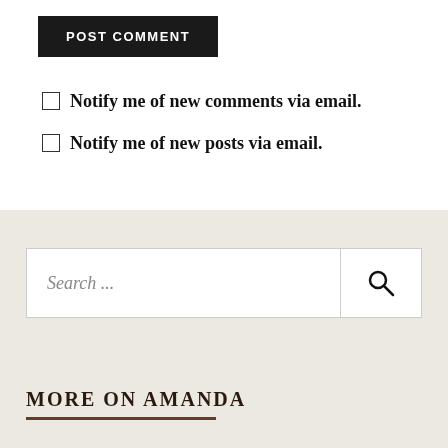POST COMMENT
Notify me of new comments via email.
Notify me of new posts via email.
Search ...
MORE ON AMANDA